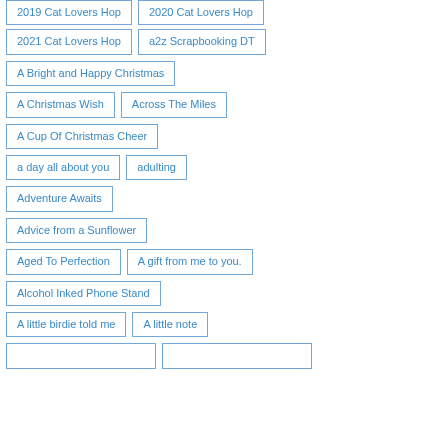2019 Cat Lovers Hop
2020 Cat Lovers Hop
2021 Cat Lovers Hop
a2z Scrapbooking DT
A Bright and Happy Christmas
A Christmas Wish
Across The Miles
A Cup Of Christmas Cheer
a day all about you
adulting
Adventure Awaits
Advice from a Sunflower
Aged To Perfection
A gift from me to you.
Alcohol Inked Phone Stand
A little birdie told me
A little note